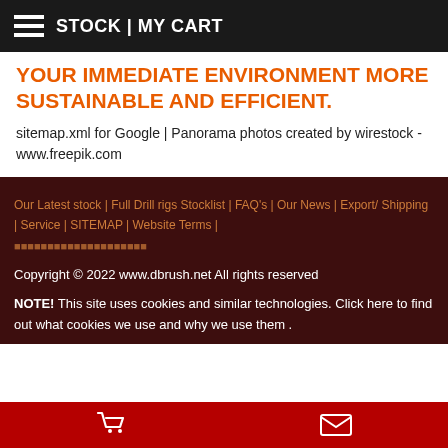STOCK | MY CART
YOUR IMMEDIATE ENVIRONMENT MORE SUSTAINABLE AND EFFICIENT.
sitemap.xml for Google | Panorama photos created by wirestock - www.freepik.com
Our Latest stock | Full Drill rigs Stocklist | FAQ's | Our News | Export/ Shipping | Service | SITEMAP | Website Terms |
Copyright © 2022 www.dbrush.net All rights reserved
NOTE! This site uses cookies and similar technologies. Click here to find out what cookies we use and why we use them .